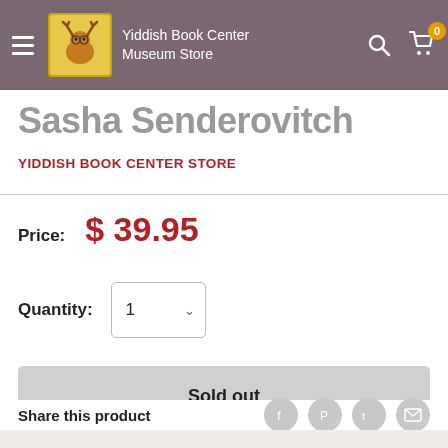Yiddish Book Center Museum Store
Sasha Senderovitch
YIDDISH BOOK CENTER STORE
Price: $ 39.95
Quantity: 1
Sold out
Share this product